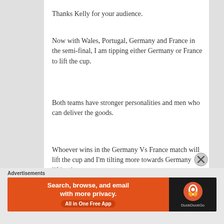Thanks Kelly for your audience.
Now with Wales, Portugal, Germany and France in the semi-final, I am tipping either Germany or France to lift the cup.
Both teams have stronger personalities and men who can deliver the goods.
Whoever wins in the Germany Vs France match will lift the cup and I'm tilting more towards Germany lifting it.
Let's see as it unfolds.
[Figure (other): DuckDuckGo advertisement banner: Search, browse, and email with more privacy. All in One Free App.]